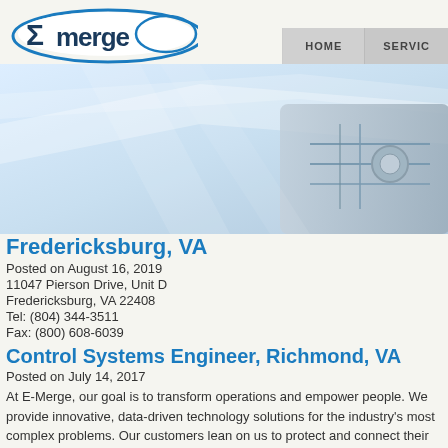[Figure (logo): E-merge company logo with blue oval and sigma symbol]
HOME   SERVIC
[Figure (photo): Hero banner image showing light blue futuristic technology circuit/panel background]
Fredericksburg, VA
Posted on August 16, 2019
11047 Pierson Drive, Unit D
Fredericksburg, VA 22408
Tel: (804) 344-3511
Fax: (800) 608-6039
Control Systems Engineer, Richmond, VA
Posted on July 14, 2017
At E-Merge, our goal is to transform operations and empower people. We provide innovative, data-driven technology solutions for the industry's most complex problems. Our customers lean on us to protect and connect their critical assets with their people.
And that is where you come in.
E-Merge, powered by GrayMatter, is dedicated to a team environment with the best